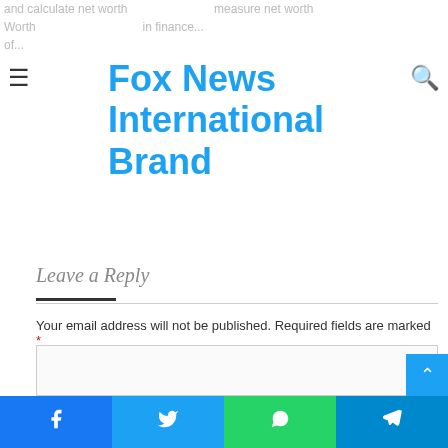Fox News International Brand
Leave a Reply
Your email address will not be published. Required fields are marked *
[Figure (screenshot): Comment text area input box (empty)]
Facebook | Twitter | WhatsApp | Telegram social share buttons